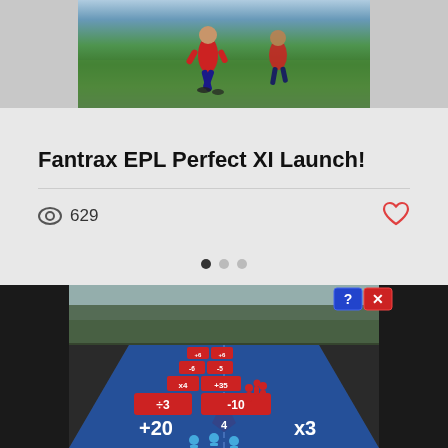[Figure (photo): Soccer/football player running on a green field, photo cropped at bottom with side gray strips]
Fantrax EPL Perfect XI Launch!
629 views, heart/like icon
[Figure (screenshot): Mobile game screenshot showing a runner game with math operators (+20, x3, ÷3, -10, +35, x4, -5, -6, +6) on red gate walls and a road with blue and red character figures. Score indicator showing 4. Help and close buttons in top right.]